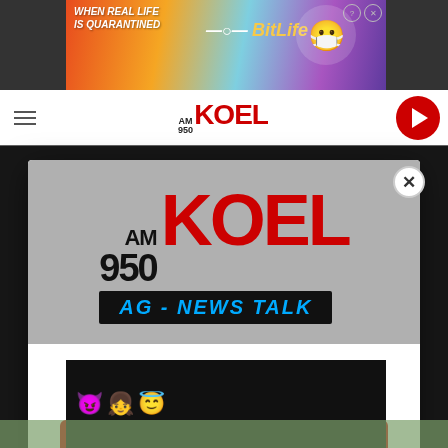[Figure (screenshot): Website screenshot of AM 950 KOEL radio station with a modal popup dialog overlaying the page. The modal shows the AM 950 KOEL AG-NEWS TALK logo and a call-to-action to download the mobile app. Background shows navigation bar with station logo, and advertisement banners at top and bottom.]
DOWNLOAD THE AM 950 KOEL MOBILE APP
GET OUR FREE MOBILE APP